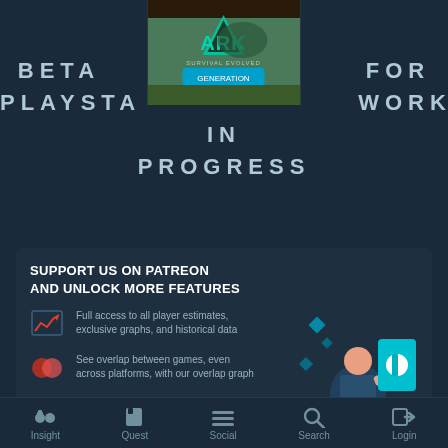BETA FOR PLAYSTATION WORK IN PROGRESS
[Figure (screenshot): ARK Survival Evolved game cover image overlapping the title text]
SUPPORT US ON PATREON AND UNLOCK MORE FEATURES
Full access to all player estimates, exclusive graphs, and historical data
See overlap between games, even across platforms, with our overlap graph
Support PlayTracker's independence and speed up development of future features
[Figure (illustration): Patreon promotional illustration showing person with Patreon logo]
Achievement activity over time
Insight  Quest  Social  Search  Login